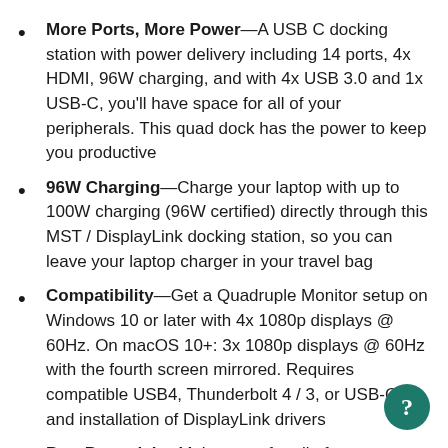More Ports, More Power—A USB C docking station with power delivery including 14 ports, 4x HDMI, 96W charging, and with 4x USB 3.0 and 1x USB-C, you'll have space for all of your peripherals. This quad dock has the power to keep you productive
96W Charging—Charge your laptop with up to 100W charging (96W certified) directly through this MST / DisplayLink docking station, so you can leave your laptop charger in your travel bag
Compatibility—Get a Quadruple Monitor setup on Windows 10 or later with 4x 1080p displays @ 60Hz. On macOS 10+: 3x 1080p displays @ 60Hz with the fourth screen mirrored. Requires compatible USB4, Thunderbolt 4 / 3, or USB-C, and installation of DisplayLink drivers
Port Potential— Make room for all of your connected gadgets. This Plugable docking station has 1x USB-C port for 5Gbps data and